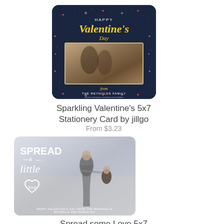[Figure (photo): Sparkling Valentine's Day card with dark navy background, gold cursive text 'Happy Valentine's Day', photo of two children, and family name text at bottom]
Sparkling Valentine's 5x7 Stationery Card by jillgo
From $3.23
[Figure (photo): Spread some Love Valentine's card with light gray/beach background, white hand-lettered text 'Spread a little love' with heart outline, photo of mother and child dancing on a beach]
Spread some Love 5x7 Stationery Card by Blonde
From $3.23